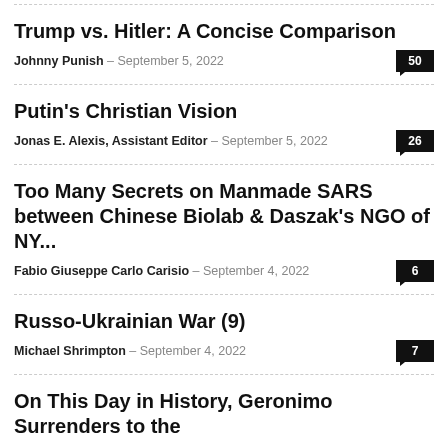Trump vs. Hitler: A Concise Comparison | Johnny Punish | September 5, 2022 | 50
Putin's Christian Vision | Jonas E. Alexis, Assistant Editor | September 5, 2022 | 26
Too Many Secrets on Manmade SARS between Chinese Biolab & Daszak's NGO of NY... | Fabio Giuseppe Carlo Carisio | September 4, 2022 | 6
Russo-Ukrainian War (9) | Michael Shrimpton | September 4, 2022 | 7
On This Day in History, Geronimo Surrenders to the